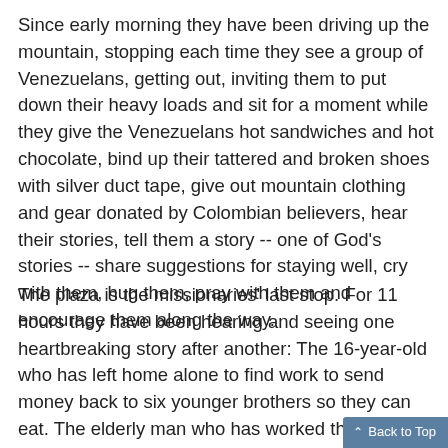Since early morning they have been driving up the mountain, stopping each time they see a group of Venezuelans, getting out, inviting them to put down their heavy loads and sit for a moment while they give the Venezuelans hot sandwiches and hot chocolate, bind up their tattered and broken shoes with silver duct tape, give out mountain clothing and gear donated by Colombian believers, hear their stories, tell them a story -- one of God's stories -- share suggestions for staying well, cry with them, hug them, pray with them and encourage them along the way.
The plaza is the missionaries' last stop. For 11 hours they have been hearing and seeing one heartbreaking story after another: The 16-year-old who has left home alone to find work to send money back to six younger brothers so they can eat. The elderly man who has worked the soil all his life. There are no seeds now, he says. He hopes someone will let him work their land and give him enough to eat. The woman in her fourth month of pregnancy whose intention in leaving